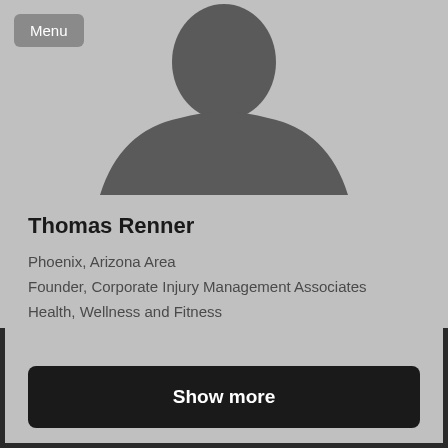[Figure (photo): Default placeholder silhouette avatar of a person (head and shoulders) in dark gray on a light gray background]
Menu
Thomas Renner
Phoenix, Arizona Area
Founder, Corporate Injury Management Associates
Health, Wellness and Fitness
Show more